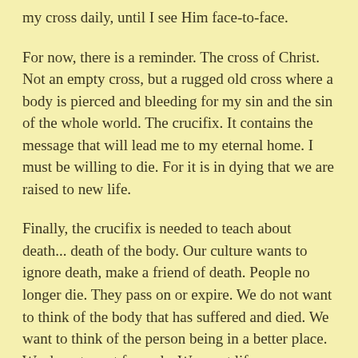my cross daily, until I see Him face-to-face.
For now, there is a reminder. The cross of Christ. Not an empty cross, but a rugged old cross where a body is pierced and bleeding for my sin and the sin of the whole world. The crucifix. It contains the message that will lead me to my eternal home. I must be willing to die. For it is in dying that we are raised to new life.
Finally, the crucifix is needed to teach about death... death of the body. Our culture wants to ignore death, make a friend of death. People no longer die. They pass on or expire. We do not want to think of the body that has suffered and died. We want to think of the person being in a better place. We do not want funerals. We want life celebrations. We do not write and print obituaries. We have life tributes.
The crucifix reminds me Jesus the Christ died. He died before He rose. Day one out of the box I am dying. I will